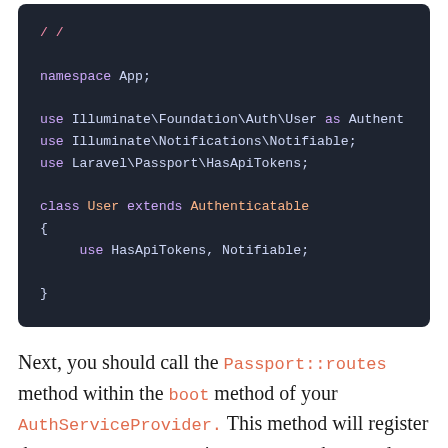[Figure (screenshot): Code block on dark background showing PHP code: namespace App; use Illuminate\Foundation\Auth\User as Authenticatable; use Illuminate\Notifications\Notifiable; use Laravel\Passport\HasApiTokens; class User extends Authenticatable { use HasApiTokens, Notifiable; }]
Next, you should call the Passport::routes method within the boot method of your AuthServiceProvider. This method will register the routes necessary to issue access tokens and revoke access tokens, clients, and personal